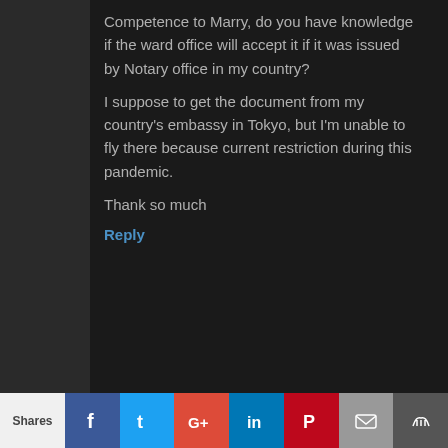Competence to Marry, do you have knowledge if the ward office will accept it if it was issued by Notary office in my country?
I suppose to get the document from my country's embassy in Tokyo, but I'm unable to fly there because current restriction during this pandemic.
Thank so much
Reply
TranSenz 2021年10月30日
Hi Fendi,
Yes, the ward office should accept it if it is notarized by a
Shares  f  t  G+  in  P  mail  crown